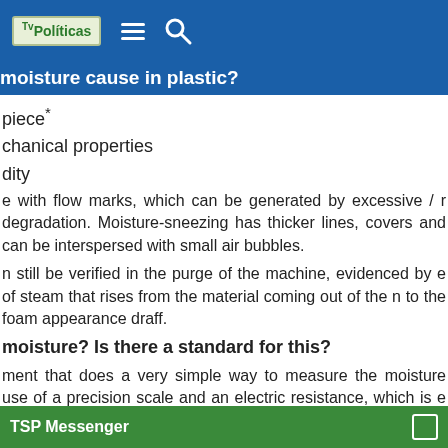on,
[Figure (screenshot): Blue navigation bar with TvPolitics logo, hamburger menu icon, and search icon]
moisture cause in plastic?
piece*
chanical properties
dity
e with flow marks, which can be generated by excessive / r degradation. Moisture-sneezing has thicker lines, covers and can be interspersed with small air bubbles.
n still be verified in the purge of the machine, evidenced by e of steam that rises from the material coming out of the n to the foam appearance draff.
moisture? Is there a standard for this?
ment that does a very simple way to measure the moisture use of a precision scale and an electric resistance, which is e manufacturing industry, because it is possible to establish nes eliminating those excessively long periods drying for guarantee.
e, the t
TSP Messenger